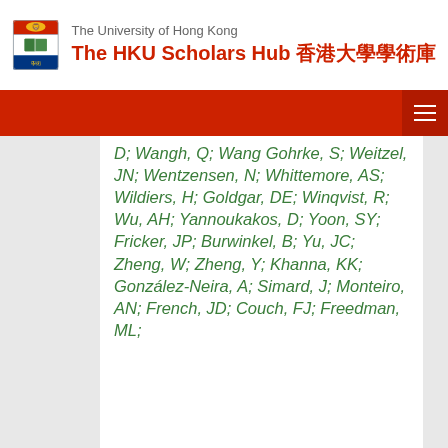The University of Hong Kong — The HKU Scholars Hub 香港大學學術庫
D; Wangh, Q; Wang Gohrke, S; Weitzel, JN; Wentzensen, N; Whittemore, AS; Wildiers, H; Goldgar, DE; Winqvist, R; Wu, AH; Yannoukakos, D; Yoon, SY; Fricker, JP; Burwinkel, B; Yu, JC; Zheng, W; Zheng, Y; Khanna, KK; González-Neira, A; Simard, J; Monteiro, AN; French, JD; Couch, FJ; Freedman, ML;